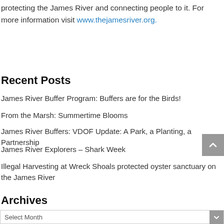protecting the James River and connecting people to it. For more information visit www.thejamesriver.org.
Recent Posts
James River Buffer Program: Buffers are for the Birds!
From the Marsh: Summertime Blooms
James River Buffers: VDOF Update: A Park, a Planting, a Partnership
James River Explorers – Shark Week
Illegal Harvesting at Wreck Shoals protected oyster sanctuary on the James River
Archives
Select Month